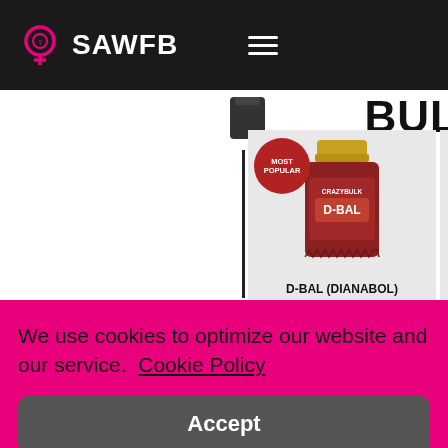SAWFB
[Figure (screenshot): Product display showing D-BAL (DIANABOL) and HGH-X2 (HGH) supplement bottles with 'MOST POPULAR' badge, partial 'BUL' text visible]
D-BAL (DIANABOL)
HGH-X2 (HGH)
We use cookies to optimize our website and our service.  Cookie Policy
Accept